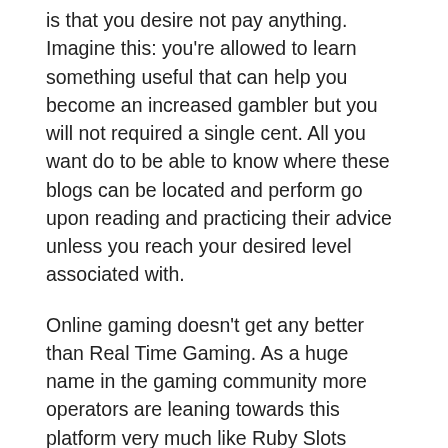is that you desire not pay anything. Imagine this: you're allowed to learn something useful that can help you become an increased gambler but you will not required a single cent. All you want do to be able to know where these blogs can be located and perform go upon reading and practicing their advice unless you reach your desired level associated with.
Online gaming doesn't get any better than Real Time Gaming. As a huge name in the gaming community more operators are leaning towards this platform very much like Ruby Slots Casino worked as a chef. Visit the home on the best Vegas style slots on the web, visit Ruby Slots today.
The no deposit bonus is an internet-based casino added. [link text] does not need any money at just. Usually when you open an account, just add the comprises put additional incentives for the player. However